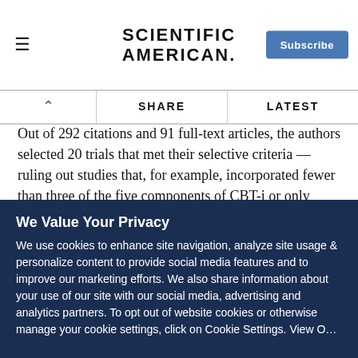SCIENTIFIC AMERICAN
Out of 292 citations and 91 full-text articles, the authors selected 20 trials that met their selective criteria — ruling out studies that, for example, incorporated fewer than three of the five components of CBT-i or only included patients that had other medical conditions as well as insomnia. These studies measured four determinants of sleep quality: time taken to fall asleep, time spent awake throughout the night after initially falling asleep, total sleep time and sleep efficiency (the total
We Value Your Privacy
We use cookies to enhance site navigation, analyze site usage & personalize content to provide social media features and to improve our marketing efforts. We also share information about your use of our site with our social media, advertising and analytics partners. To opt out of website cookies or otherwise manage your cookie settings, click on Cookie Settings. View O…